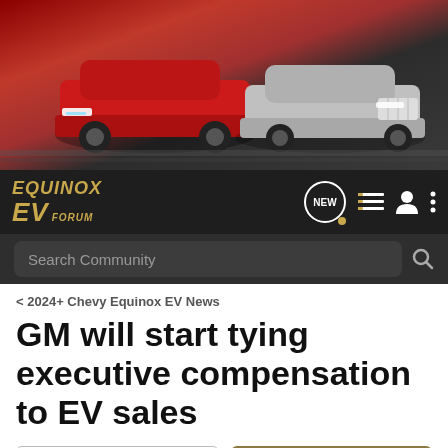[Figure (photo): Hero image showing two Chevrolet Equinox EV cars — a red one and a silver one — on a track background]
EQUINOX EV FORUM
Search Community
< 2024+ Chevy Equinox EV News
GM will start tying executive compensation to EV sales
→ Jump to Latest
+ Follow
1 - 1 of 1 Posts